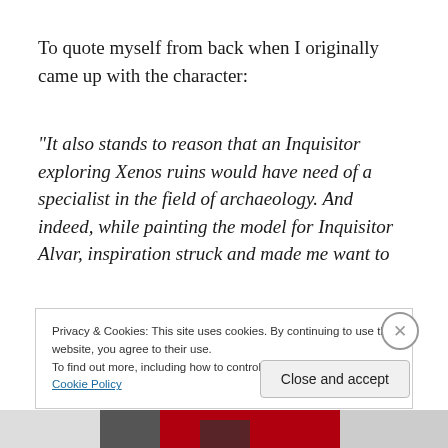To quote myself from back when I originally came up with the character:
“It also stands to reason that an Inquisitor exploring Xenos ruins would have need of a specialist in the field of archaeology. And indeed, while painting the model for Inquisitor Alvar, inspiration struck and made me want to
Privacy & Cookies: This site uses cookies. By continuing to use this website, you agree to their use.
To find out more, including how to control cookies, see here: Cookie Policy
Close and accept